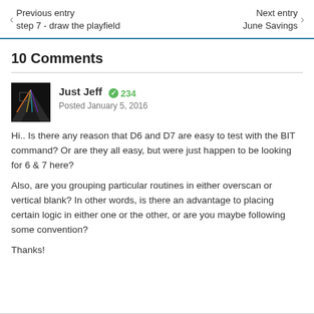Previous entry
step 7 - draw the playfield
Next entry
June Savings
10 Comments
Just Jeff  234
Posted January 5, 2016
Hi.. Is there any reason that D6 and D7 are easy to test with the BIT command? Or are they all easy, but were just happen to be looking for 6 & 7 here?
Also, are you grouping particular routines in either overscan or vertical blank? In other words, is there an advantage to placing certain logic in either one or the other, or are you maybe following some convention?
Thanks!